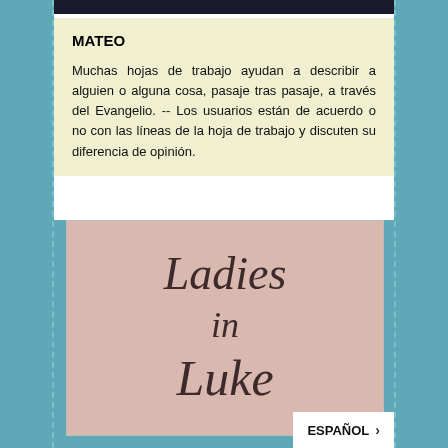[Figure (screenshot): Dark top bar of a mobile app screenshot]
MATEO
Muchas hojas de trabajo ayudan a describir a alguien o alguna cosa, pasaje tras pasaje, a través del Evangelio. -- Los usuarios están de acuerdo o no con las líneas de la hoja de trabajo y discuten su diferencia de opinión.
[Figure (illustration): Pink textured card with cursive script text reading 'Ladies in Luke']
ESPAÑOL >